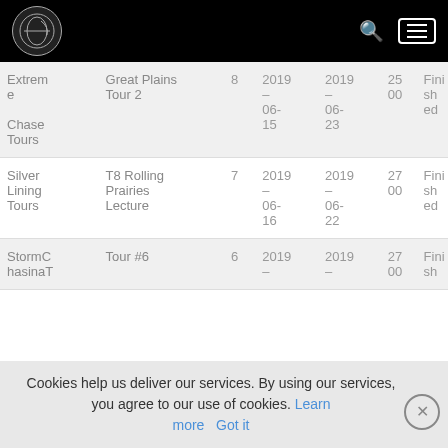Navigation header with logo, search icon, and menu button
| Company | Tour | # | Start | End | Spots | Status |
| --- | --- | --- | --- | --- | --- | --- |
| Extreme Chase Tours | Great Plains Tour 2 | 8 | 2019-06-15 | 2019-06-23 | 25 00 | Finished |
| Silver Lining Tours | T8 Rolling Prairies Lecture | 7 | 2019-06-16 | 2019-06-22 | 27 00 | Finished |
| StormChasinaT | Tour #6 | 6 | 2019- | 2019- | 27 00 | Finish... |
Cookies help us deliver our services. By using our services, you agree to our use of cookies. Learn more  Got it